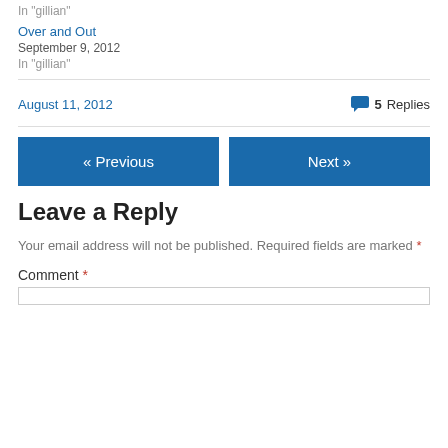In "gillian"
Over and Out
September 9, 2012
In "gillian"
August 11, 2012     5 Replies
« Previous
Next »
Leave a Reply
Your email address will not be published. Required fields are marked *
Comment *